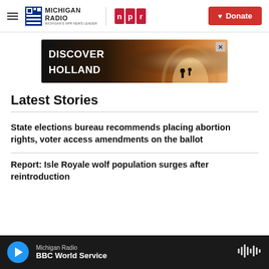Michigan Radio | NPR | Donate
[Figure (other): Discover Holland advertisement banner showing a tunnel with silhouettes of cyclists]
Latest Stories
State elections bureau recommends placing abortion rights, voter access amendments on the ballot
Report: Isle Royale wolf population surges after reintroduction
Michigan Radio | BBC World Service